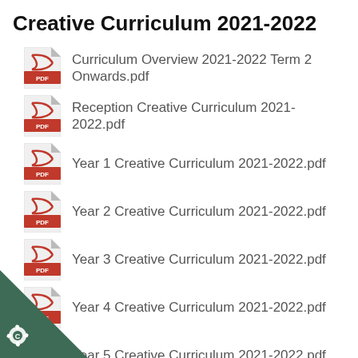Creative Curriculum 2021-2022
Curriculum Overview 2021-2022 Term 2 Onwards.pdf
Reception Creative Curriculum 2021-2022.pdf
Year 1 Creative Curriculum 2021-2022.pdf
Year 2 Creative Curriculum 2021-2022.pdf
Year 3 Creative Curriculum 2021-2022.pdf
Year 4 Creative Curriculum 2021-2022.pdf
Year 5 Creative Curriculum 2021-2022.pdf
Year 6 Creative Curriculum 2021-2022.pdf